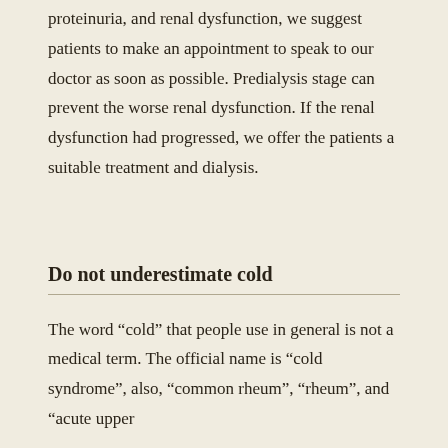proteinuria, and renal dysfunction, we suggest patients to make an appointment to speak to our doctor as soon as possible. Predialysis stage can prevent the worse renal dysfunction. If the renal dysfunction had progressed, we offer the patients a suitable treatment and dialysis.
Do not underestimate cold
The word “cold” that people use in general is not a medical term. The official name is “cold syndrome”, also, “common rheum”, “rheum”, and “acute upper